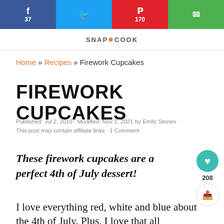f 37 | Twitter | p 170 | Email
SNAP COOK (navigation logo)
Home » Recipes » Firework Cupcakes
FIREWORK CUPCAKES
Published: Jul 2, 2016 · Modified: Nov 1, 2021 by Emily Stones · This post may contain affiliate links · 1 Comment
These firework cupcakes are a perfect 4th of July dessert!
I love everything red, white and blue about the 4th of July. Plus, I love that all